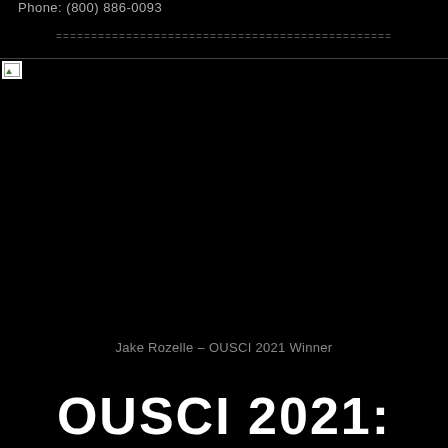Phone: (800) 886-0093
================================================
[Figure (photo): Broken image placeholder — large black area with a small broken image icon in the top-left corner and a thin border line extending to the right]
Jake Rozelle – OUSCI 2021 Winner
OUSCI 2021: